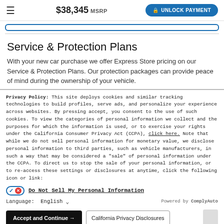$38,345 MSRP | UNLOCK PAYMENT
Service & Protection Plans
With your new car purchase we offer Express Store pricing on our Service & Protection Plans. Our protection packages can provide peace of mind during the ownership of your vehicle.
Privacy Policy: This site deploys cookies and similar tracking technologies to build profiles, serve ads, and personalize your experience across websites. By pressing accept, you consent to the use of such cookies. To view the categories of personal information we collect and the purposes for which the information is used, or to exercise your rights under the California Consumer Privacy Act (CCPA), click here. Note that while we do not sell personal information for monetary value, we disclose personal information to third parties, such as vehicle manufacturers, in such a way that may be considered a "sale" of personal information under the CCPA. To direct us to stop the sale of your personal information, or to re-access these settings or disclosures at anytime, click the following icon or link:
Do Not Sell My Personal Information
Language: English | Powered by ComplyAuto
Accept and Continue → | California Privacy Disclosures